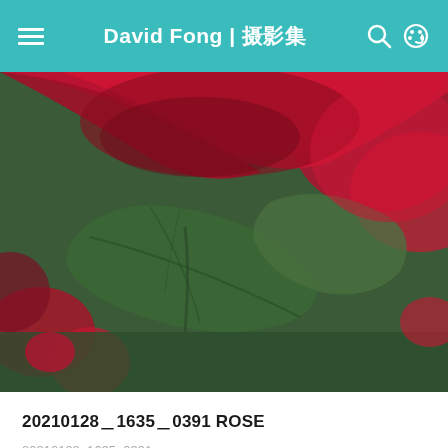David Fong | 摄影集
[Figure (photo): Close-up macro photograph of a red rose bloom with green leaves, bokeh background showing more red roses.]
20210128＿1635＿0391 ROSE
20210128_1635_0391 rose
SEE ALL >